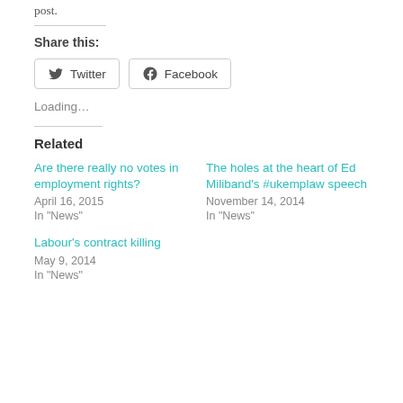post.
Share this:
Twitter  Facebook
Loading...
Related
Are there really no votes in employment rights?
April 16, 2015
In "News"
The holes at the heart of Ed Miliband's #ukemplaw speech
November 14, 2014
In "News"
Labour's contract killing
May 9, 2014
In "News"